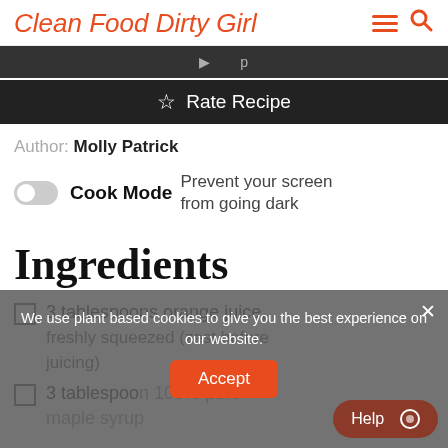Clean Food Dirty Girl
Rate Recipe
Author: Molly Patrick
Cook Mode  Prevent your screen from going dark
Ingredients
3 tablespoons orange juice, freshly squeezed (zest before juicing)
3 tablespoons 100% pure maple syrup
We use plant based cookies to give you the best experience on our website.